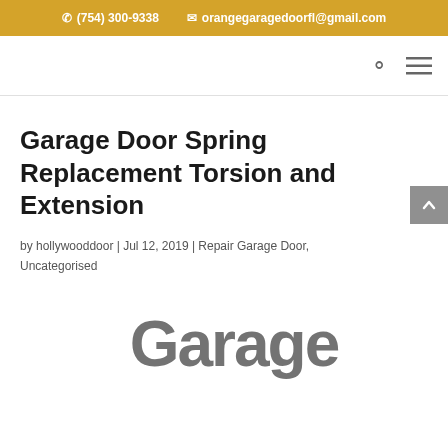(754) 300-9338   orangegaragedoorfl@gmail.com
Garage Door Spring Replacement Torsion and Extension
by hollywooddoor | Jul 12, 2019 | Repair Garage Door, Uncategorised
[Figure (other): Partial image showing the word 'Garage' in large stylized text at bottom of page]